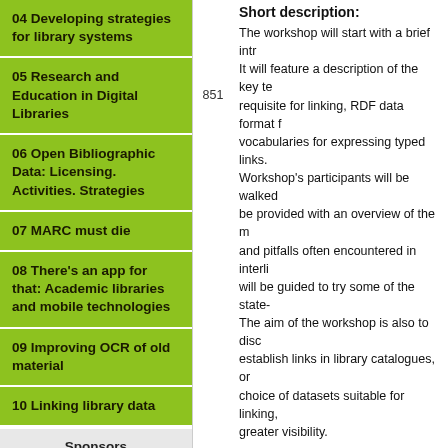04 Developing strategies for library systems
05 Research and Education in Digital Libraries
06 Open Bibliographic Data: Licensing. Activities. Strategies
07 MARC must die
08 There's an app for that: Academic libraries and mobile technologies
09 Improving OCR of old material
10 Linking library data
Sponsors
851
Short description:
The workshop will start with a brief intr... It will feature a description of the key te... requisite for linking, RDF data format f... vocabularies for expressing typed links... Workshop's participants will be walked... be provided with an overview of the m... and pitfalls often encountered in interli... will be guided to try some of the state-... The aim of the workshop is also to disc... establish links in library catalogues, or... choice of datasets suitable for linking, ... greater visibility.
Discussion topics: Throughout the w... The discussions' topics will focus prima...
What constitutes data worth li...
How to find datasets suitable fo...
How to make my dataset worth...
How to encourage others to lin...